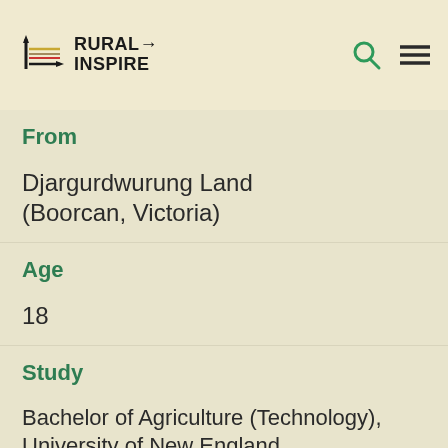RURAL INSPIRE
From
Djargurdwurung Land (Boorcan, Victoria)
Age
18
Study
Bachelor of Agriculture (Technology), University of New England